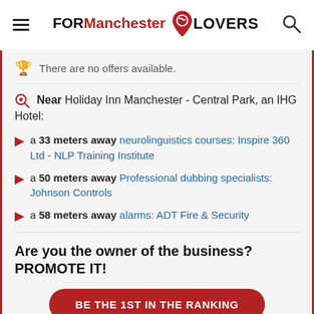FORManchester LOVERS
There are no offers available.
Near Holiday Inn Manchester - Central Park, an IHG Hotel:
a 33 meters away neurolinguistics courses: Inspire 360 Ltd - NLP Training Institute
a 50 meters away Professional dubbing specialists: Johnson Controls
a 58 meters away alarms: ADT Fire & Security
Are you the owner of the business? PROMOTE IT!
BE THE 1ST IN THE RANKING